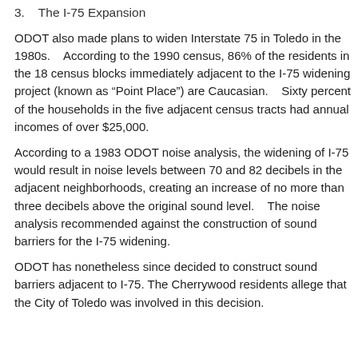3.   The I-75 Expansion
ODOT also made plans to widen Interstate 75 in Toledo in the 1980s.    According to the 1990 census, 86% of the residents in the 18 census blocks immediately adjacent to the I-75 widening project (known as “Point Place”) are Caucasian.    Sixty percent of the households in the five adjacent census tracts had annual incomes of over $25,000.
According to a 1983 ODOT noise analysis, the widening of I-75 would result in noise levels between 70 and 82 decibels in the adjacent neighborhoods, creating an increase of no more than three decibels above the original sound level.    The noise analysis recommended against the construction of sound barriers for the I-75 widening.
ODOT has nonetheless since decided to construct sound barriers adjacent to I-75. The Cherrywood residents allege that the City of Toledo was involved in this decision.